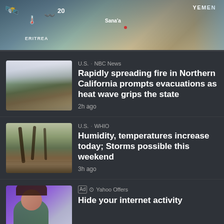[Figure (map): Weather map showing Yemen and Eritrea region with Sana'a labeled. Icons for satellite, thermometer, and wind with speed 20.]
[Figure (photo): Wildfire smoke rising over Northern California hills]
U.S. · NBC News
Rapidly spreading fire in Northern California prompts evacuations as heat wave grips the state
2h ago
[Figure (photo): Forest path with tall dark trees]
U.S. · WHIO
Humidity, temperatures increase today; Storms possible this weekend
3h ago
[Figure (photo): Woman looking at phone, advertisement for Yahoo Offers]
Ad · Yahoo Offers
Hide your internet activity